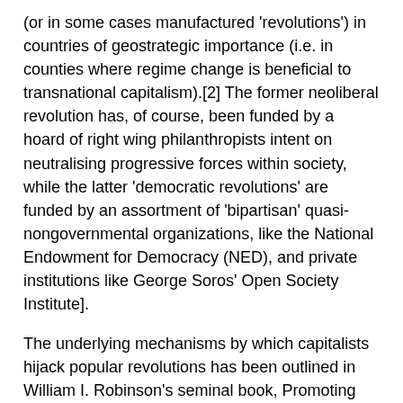(or in some cases manufactured 'revolutions') in countries of geostrategic importance (i.e. in counties where regime change is beneficial to transnational capitalism).[2] The former neoliberal revolution has, of course, been funded by a hoard of right wing philanthropists intent on neutralising progressive forces within society, while the latter 'democratic revolutions' are funded by an assortment of 'bipartisan' quasi-nongovernmental organizations, like the National Endowment for Democracy (NED), and private institutions like George Soros' Open Society Institute].
The underlying mechanisms by which capitalists hijack popular revolutions has been outlined in William I. Robinson's seminal book, Promoting Polyarchy: Globalization, US Intervention, and Hegemony (1996), which examines elite interventions in four countries – Chile, Nicaragua, the Philippines, and Haiti.[3] Robinson hypothesized that as a result of the public backlash (in the 1970s) against the US government's repressive and covert foreign policies, foreign policy making elites elected to put a greater emphasis on overt means of overthrowing 'problematic' governments through the strategic manipulation of civil society. In 1984, this 'democratic' thinking was institutionalised with the creation of the National Endowment for Democracy, an organisation that acts as the coordinating body for better funded 'democracy promoting' organisations like US Agency for